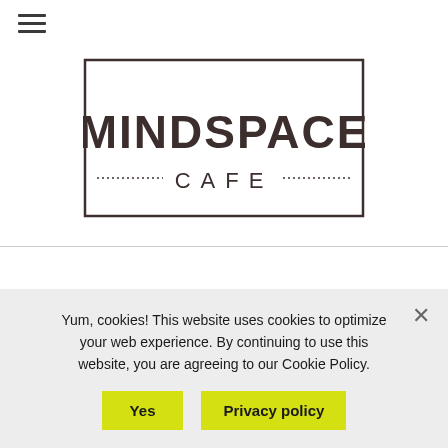[Figure (logo): Mindspace Cafe logo — bold uppercase MINDSPACE above a dotted line with CAFE in spaced capitals, all enclosed in a rectangular border]
MINDFULNESS
MINIMALISM
9 reasons why friends come and go
Yum, cookies! This website uses cookies to optimize your web experience. By continuing to use this website, you are agreeing to our Cookie Policy.
Yes
Privacy policy